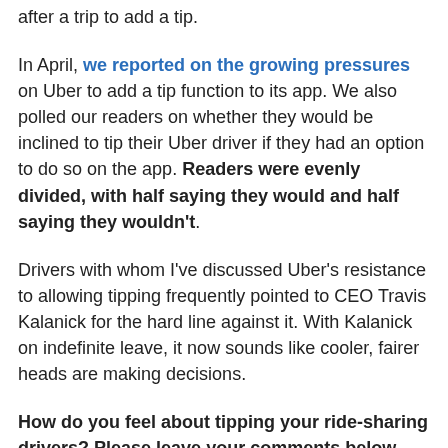after a trip to add a tip.
In April, we reported on the growing pressures on Uber to add a tip function to its app. We also polled our readers on whether they would be inclined to tip their Uber driver if they had an option to do so on the app. Readers were evenly divided, with half saying they would and half saying they wouldn't.
Drivers with whom I've discussed Uber's resistance to allowing tipping frequently pointed to CEO Travis Kalanick for the hard line against it. With Kalanick on indefinite leave, it now sounds like cooler, fairer heads are making decisions.
How do you feel about tipping your ride-sharing drivers? Please leave your comments below.